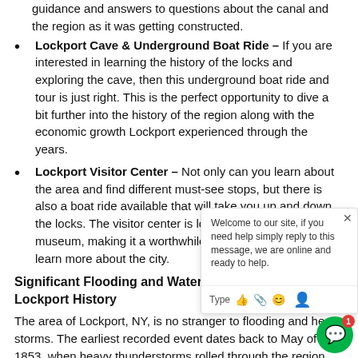guidance and answers to questions about the canal and the region as it was getting constructed.
Lockport Cave & Underground Boat Ride – If you are interested in learning the history of the locks and exploring the cave, then this underground boat ride and tour is just right. This is the perfect opportunity to dive a bit further into the history of the region along with the economic growth Lockport experienced through the years.
Lockport Visitor Center – Not only can you learn about the area and find different must-see stops, but there is also a boat ride available that will take you up and down the locks. The visitor center is located in the local museum, making it a worthwhile trip w... can also learn more about the city.
Significant Flooding and Water Damage Events in Lockport History
The area of Lockport, NY, is no stranger to flooding and heavy storms. The earliest recorded event dates back to May of 1853, when heavy thunderstorms rolled through the region. The local historical society is also in possession of photos from the early 20th century showing flooding behind